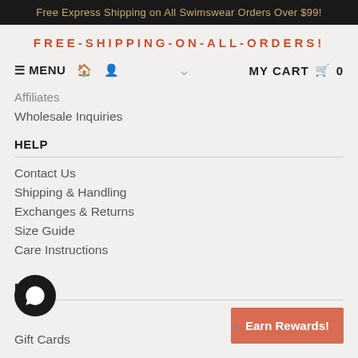Free Express Shipping on All Swimswear Orders Over $99!
FREE-SHIPPING-ON-ALL-ORDERS!
≡ MENU 🏠 👤 ∨ MY CART 🛒 0
Affiliates
Wholesale Inquiries
HELP
Contact Us
Shipping & Handling
Exchanges & Returns
Size Guide
Care Instructions
MORE
Gift Cards
Earn Rewards!